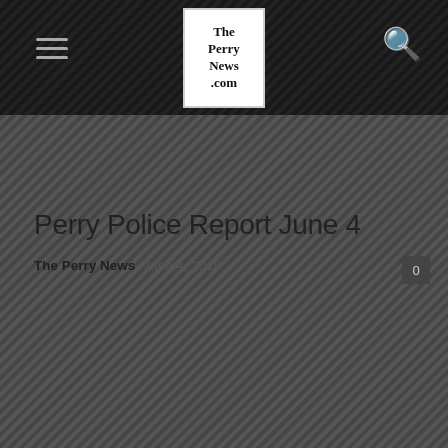The Perry News .com
Perry Police Report June 4
The Perry News   June 4, 2018   0